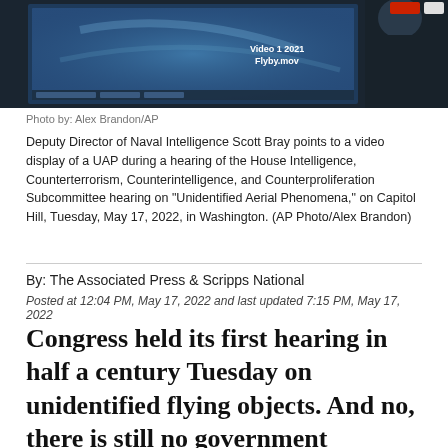[Figure (photo): A dark scene showing a video display screen with text 'Video 1 2021 Flyby.mov' visible, with a person in a dark suit partially visible on the right side. The screen shows a UAP video during a congressional hearing.]
Photo by: Alex Brandon/AP
Deputy Director of Naval Intelligence Scott Bray points to a video display of a UAP during a hearing of the House Intelligence, Counterterrorism, Counterintelligence, and Counterproliferation Subcommittee hearing on "Unidentified Aerial Phenomena," on Capitol Hill, Tuesday, May 17, 2022, in Washington. (AP Photo/Alex Brandon)
By: The Associated Press & Scripps National
Posted at 12:04 PM, May 17, 2022 and last updated 7:15 PM, May 17, 2022
Congress held its first hearing in half a century Tuesday on unidentified flying objects. And no, there is still no government confirmation of extraterrestrial life.